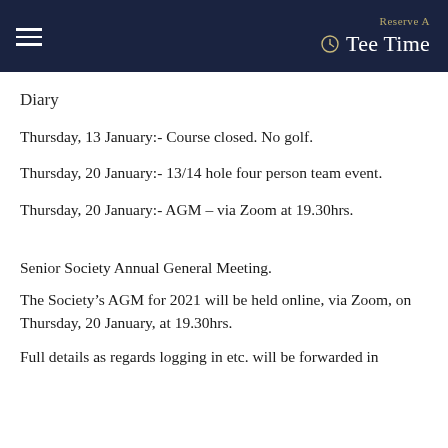Reserve A Tee Time
Diary
Thursday, 13 January:- Course closed. No golf.
Thursday, 20 January:- 13/14 hole four person team event.
Thursday, 20 January:- AGM – via Zoom at 19.30hrs.
Senior Society Annual General Meeting.
The Society's AGM for 2021 will be held online, via Zoom, on Thursday, 20 January, at 19.30hrs.
Full details as regards logging in etc. will be forwarded in